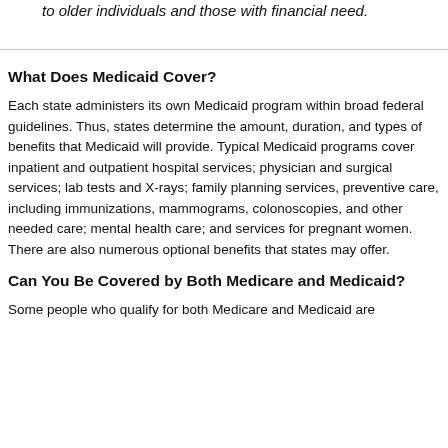to older individuals and those with financial need.
What Does Medicaid Cover?
Each state administers its own Medicaid program within broad federal guidelines. Thus, states determine the amount, duration, and types of benefits that Medicaid will provide. Typical Medicaid programs cover inpatient and outpatient hospital services; physician and surgical services; lab tests and X-rays; family planning services, preventive care, including immunizations, mammograms, colonoscopies, and other needed care; mental health care; and services for pregnant women. There are also numerous optional benefits that states may offer.
Can You Be Covered by Both Medicare and Medicaid?
Some people who qualify for both Medicare and Medicaid are